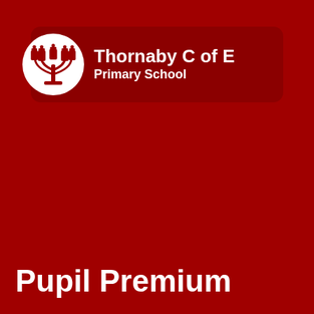[Figure (logo): Thornaby C of E Primary School logo: white circle with red candelabra/lamp post illustration, next to school name text on dark red rounded rectangle banner]
Pupil Premium